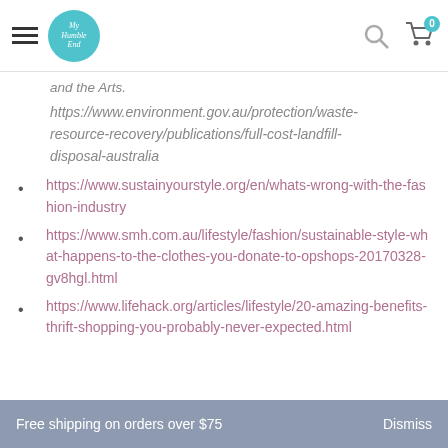My Humble End [logo] — navigation bar with hamburger menu, search, and cart (0)
and the Arts.
https://www.environment.gov.au/protection/waste-resource-recovery/publications/full-cost-landfill-disposal-australia
https://www.sustainyourstyle.org/en/whats-wrong-with-the-fashion-industry
https://www.smh.com.au/lifestyle/fashion/sustainable-style-what-happens-to-the-clothes-you-donate-to-opshops-20170328-gv8hgl.html
https://www.lifehack.org/articles/lifestyle/20-amazing-benefits-thrift-shopping-you-probably-never-expected.html
Free shipping on orders over $75    Dismiss